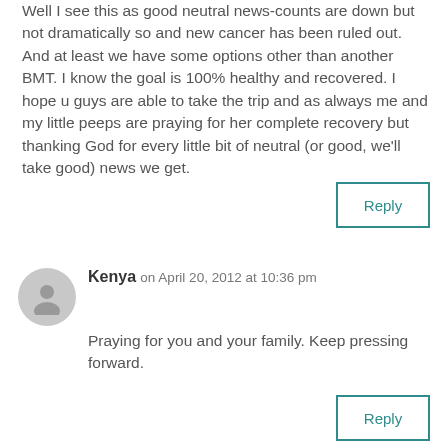Well I see this as good neutral news-counts are down but not dramatically so and new cancer has been ruled out. And at least we have some options other than another BMT. I know the goal is 100% healthy and recovered. I hope u guys are able to take the trip and as always me and my little peeps are praying for her complete recovery but thanking God for every little bit of neutral (or good, we'll take good) news we get.
Reply
Kenya on April 20, 2012 at 10:36 pm
Praying for you and your family. Keep pressing forward.
Reply